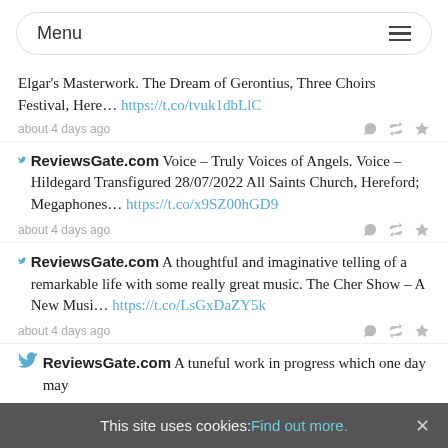Menu
Elgar's Masterwork. The Dream of Gerontius, Three Choirs Festival, Here... https://t.co/tvuk1dbLlC
about 4 days ago
ReviewsGate.com Voice - Truly Voices of Angels. Voice – Hildegard Transfigured 28/07/2022 All Saints Church, Hereford; Megaphones... https://t.co/x9SZ00hGD9
about 4 days ago
ReviewsGate.com A thoughtful and imaginative telling of a remarkable life with some really great music. The Cher Show – A New Musi... https://t.co/LsGxDaZY5k
about 4 days ago
ReviewsGate.com A tuneful work in progress which one day may
This site uses cookies: Find out more.